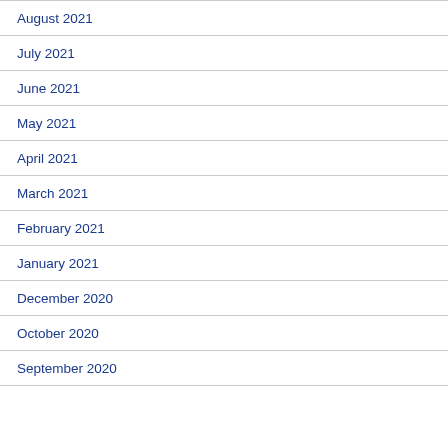August 2021
July 2021
June 2021
May 2021
April 2021
March 2021
February 2021
January 2021
December 2020
October 2020
September 2020